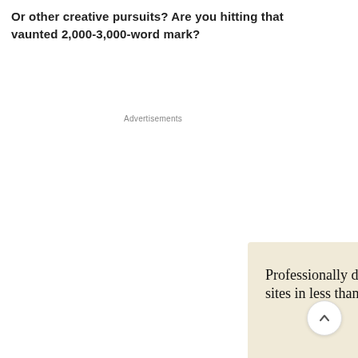Or other creative pursuits? Are you hitting that vaunted 2,000-3,000-word mark?
[Figure (infographic): WordPress advertisement: 'Professionally designed sites in less than a week' with an Explore options button, WordPress logo, and mockup images of web pages on devices. Labeled 'Advertisements' above and 'REPORT THIS AD' below.]